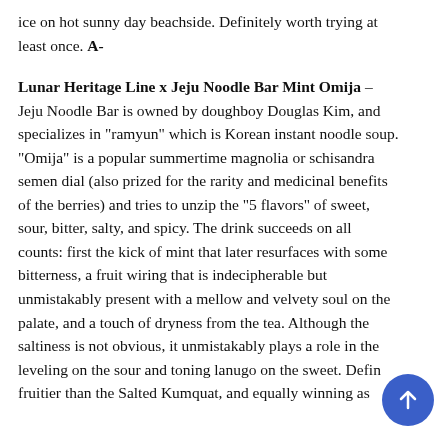ice on hot sunny day beachside. Definitely worth trying at least once. A-
Lunar Heritage Line x Jeju Noodle Bar Mint Omija – Jeju Noodle Bar is owned by doughboy Douglas Kim, and specializes in "ramyun" which is Korean instant noodle soup. "Omija" is a popular summertime magnolia or schisandra semen dial (also prized for the rarity and medicinal benefits of the berries) and tries to unzip the "5 flavors" of sweet, sour, bitter, salty, and spicy. The drink succeeds on all counts: first the kick of mint that later resurfaces with some bitterness, a fruit wiring that is indecipherable but unmistakably present with a mellow and velvety soul on the palate, and a touch of dryness from the tea. Although the saltiness is not obvious, it unmistakably plays a role in the leveling on the sour and toning lanugo on the sweet. Defin fruitier than the Salted Kumquat, and equally winning as